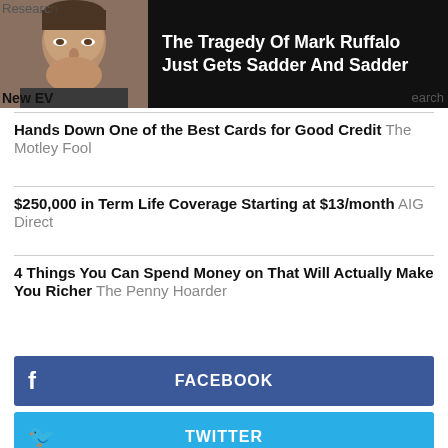[Figure (photo): Ad banner showing Mark Ruffalo photo with headline 'The Tragedy Of Mark Ruffalo Just Gets Sadder And Sadder']
Research
New EV
earch
Hands Down One of the Best Cards for Good Credit  The Motley Fool
$250,000 in Term Life Coverage Starting at $13/month  AIG Direct
4 Things You Can Spend Money on That Will Actually Make You Richer  The Penny Hoarder
FACEBOOK
TWITTER
GOOGLE+
LINKEDIN
REDDIT
PRINT